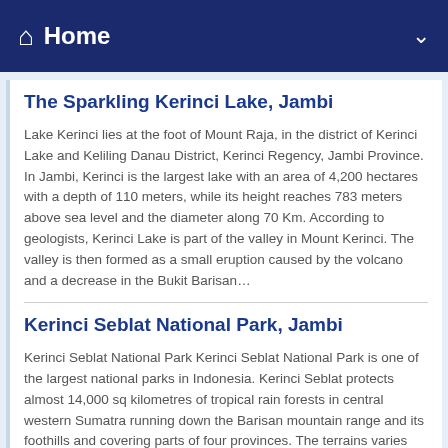Home
The Sparkling Kerinci Lake, Jambi
Lake Kerinci lies at the foot of Mount Raja, in the district of Kerinci Lake and Keliling Danau District, Kerinci Regency, Jambi Province. In Jambi, Kerinci is the largest lake with an area of 4,200 hectares with a depth of 110 meters, while its height reaches 783 meters above sea level and the diameter along 70 Km. According to geologists, Kerinci Lake is part of the valley in Mount Kerinci. The valley is then formed as a small eruption caused by the volcano and a decrease in the Bukit Barisan…
Kerinci Seblat National Park, Jambi
Kerinci Seblat National Park Kerinci Seblat National Park is one of the largest national parks in Indonesia. Kerinci Seblat protects almost 14,000 sq kilometres of tropical rain forests in central western Sumatra running down the Barisan mountain range and its foothills and covering parts of four provinces. The terrains varies from lowland forests up to the